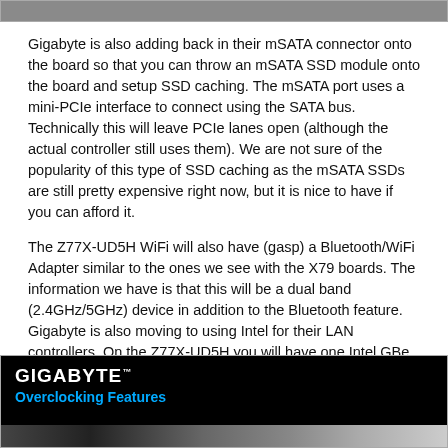[Figure (screenshot): Top gray bar from previous image]
Gigabyte is also adding back in their mSATA connector onto the board so that you can throw an mSATA SSD module onto the board and setup SSD caching. The mSATA port uses a mini-PCIe interface to connect using the SATA bus.  Technically this will leave PCIe lanes open (although the actual controller still uses them). We are not sure of the popularity of this type of SSD caching as the mSATA SSDs are still pretty expensive right now, but it is nice to have if you can afford it.
The Z77X-UD5H WiFi will also have (gasp) a Bluetooth/WiFi Adapter similar to the ones we see with the X79 boards. The information we have is that this will be a dual band (2.4GHz/5GHz) device in addition to the Bluetooth feature. Gigabyte is also moving to using Intel for their LAN controllers. On the Z77X-UD5H you will have one Intel GBe LAN port and a Qualcomm Atheros GBe LAN port. Unfortunately this means no teaming, but it can still be a benefit to have dual LAN controllers.
[Figure (screenshot): Gigabyte Overclocking Features slide with black background, white GIGABYTE logo, blue 'Overclocking Features' text, and a bottom strip showing hardware images]